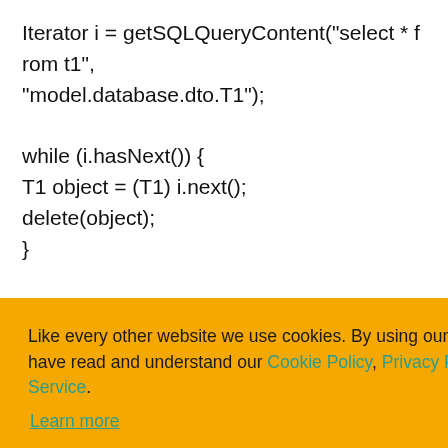Iterator i = getSQLQueryContent("select * from t1", "model.database.dto.T1");

while (i.hasNext()) {
T1 object = (T1) i.next();
delete(object);
}
[Figure (screenshot): Cookie consent banner with orange background. Text: 'Like every other website we use cookies. By using our site you acknowledge that you have read and understand our Cookie Policy, Privacy Policy, and our Terms of Service. Learn more'. Buttons: 'Ask me later', 'Decline', 'Allow cookies'.]
getSQLQueryContent("select * from t1",
while (i.hasNext()) {